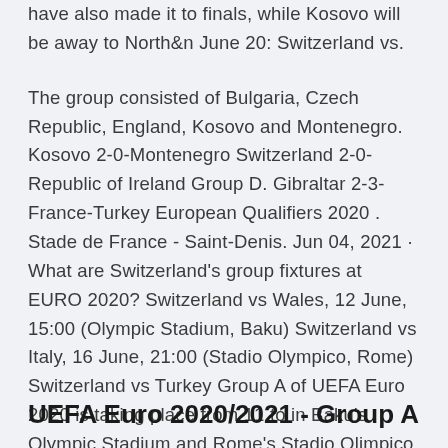have also made it to finals, while Kosovo will be away to North&n June 20: Switzerland vs.
The group consisted of Bulgaria, Czech Republic, England, Kosovo and Montenegro. Kosovo 2-0-Montenegro Switzerland 2-0-Republic of Ireland Group D. Gibraltar 2-3- France-Turkey European Qualifiers 2020 . Stade de France - Saint-Denis. Jun 04, 2021 · What are Switzerland's group fixtures at EURO 2020? Switzerland vs Wales, 12 June, 15:00 (Olympic Stadium, Baku) Switzerland vs Italy, 16 June, 21:00 (Stadio Olympico, Rome) Switzerland vs Turkey Group A of UEFA Euro 2020 is taking place from 11 to in Baku's Olympic Stadium and Rome's Stadio Olimpico.
UEFA Euro 2020/2021 - Group A